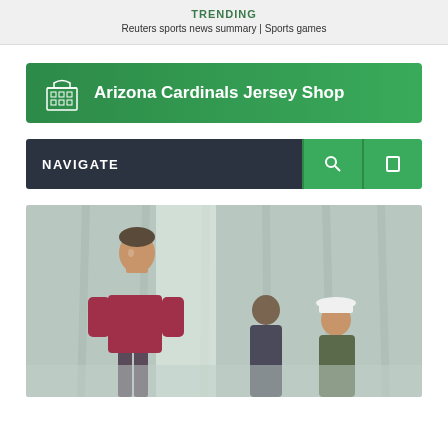TRENDING
Reuters sports news summary | Sports games
[Figure (other): Arizona Cardinals Jersey Shop advertisement banner with store icon and green gradient background]
NAVIGATE
[Figure (photo): Photo of a man in a red/maroon shirt standing, with other people including one in a white cap, against a curtained background]